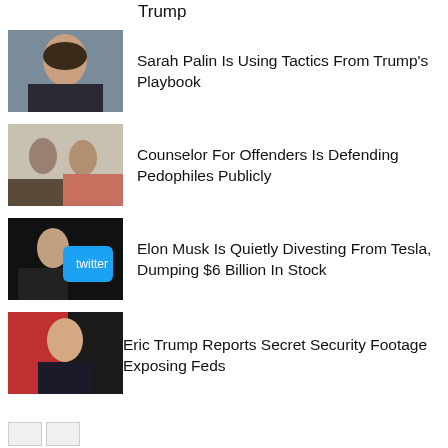Trump
[Figure (photo): Photo of Sarah Palin]
Sarah Palin Is Using Tactics From Trump's Playbook
[Figure (photo): Photo of two people in an interview setting]
Counselor For Offenders Is Defending Pedophiles Publicly
[Figure (photo): Photo of Elon Musk holding Twitter sign]
Elon Musk Is Quietly Divesting From Tesla, Dumping $6 Billion In Stock
[Figure (photo): Photo of Eric Trump at podium]
Eric Trump Reports Secret Security Footage Exposing Feds